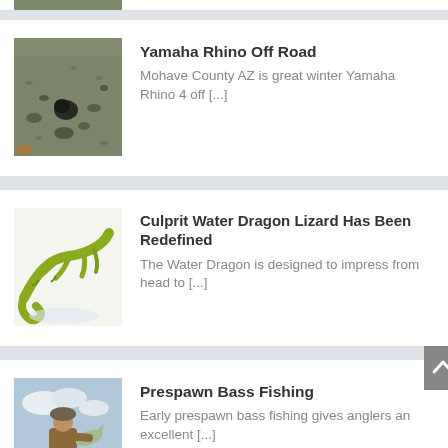[Figure (photo): Partial image at top of page, cropped]
Yamaha Rhino Off Road
Mohave County AZ is great winter Yamaha Rhino 4 off [...]
[Figure (photo): Overhead desert landscape photo with sparse vegetation]
Culprit Water Dragon Lizard Has Been Redefined
The Water Dragon is designed to impress from head to [...]
[Figure (photo): Close-up photo of a green Water Dragon lizard lure on white background]
Prespawn Bass Fishing
Early prespawn bass fishing gives anglers an excellent [...]
[Figure (photo): Angler holding a bass fish outdoors with cloudy sky background]